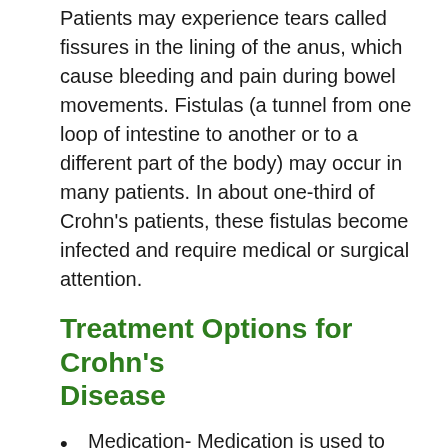Patients may experience tears called fissures in the lining of the anus, which cause bleeding and pain during bowel movements. Fistulas (a tunnel from one loop of intestine to another or to a different part of the body) may occur in many patients. In about one-third of Crohn's patients, these fistulas become infected and require medical or surgical attention.
Treatment Options for Crohn's Disease
Medication- Medication is used to suppress the heightened immune responses that are causing inflammation. This suppression may relieve symptoms and allow the digestive system to heal. There are five groups of drugs that are used to treat